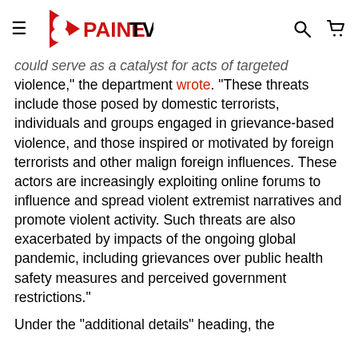PAINE.TV
could serve as a catalyst for acts of targeted violence," the department wrote. "These threats include those posed by domestic terrorists, individuals and groups engaged in grievance-based violence, and those inspired or motivated by foreign terrorists and other malign foreign influences. These actors are increasingly exploiting online forums to influence and spread violent extremist narratives and promote violent activity. Such threats are also exacerbated by impacts of the ongoing global pandemic, including grievances over public health safety measures and perceived government restrictions."
Under the "additional details" heading, the